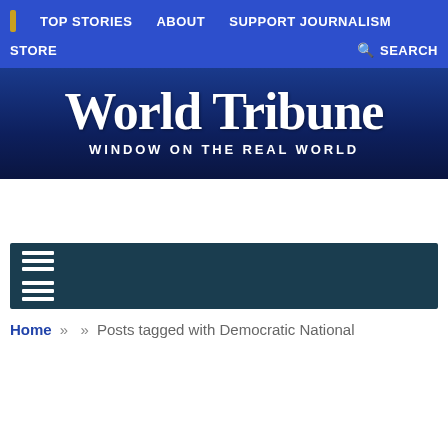TOP STORIES   ABOUT   SUPPORT JOURNALISM   STORE   SEARCH
[Figure (logo): World Tribune logo with gothic blackletter text 'World Tribune' and subtitle 'WINDOW ON THE REAL WORLD' on dark blue background]
[Figure (other): Dark teal section bar with two hamburger menu icons]
Home » » Posts tagged with Democratic National